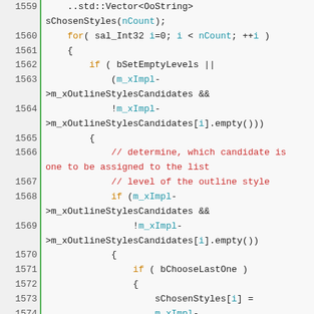[Figure (screenshot): Source code listing in a code editor showing C++ code lines 1559-1584, with line numbers in a left gutter separated by a green bar, syntax highlighting in orange (keywords), blue (variables/identifiers), red (comments), and black (plain code) on a light gray background.]